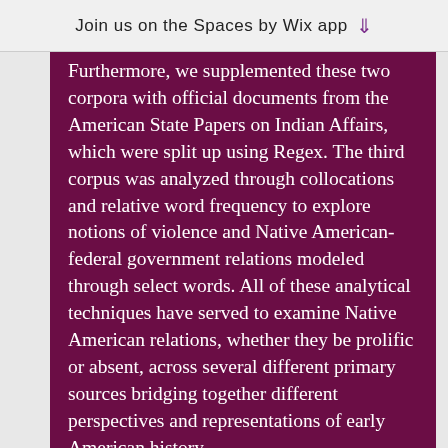Join us on the Spaces by Wix app
Furthermore, we supplemented these two corpora with official documents from the American State Papers on Indian Affairs, which were split up using Regex. The third corpus was analyzed through collocations and relative word frequency to explore notions of violence and Native American-federal government relations modeled through select words. All of these analytical techniques have served to examine Native American relations, whether they be prolific or absent, across several different primary sources bridging together different perspectives and representations of early American history.